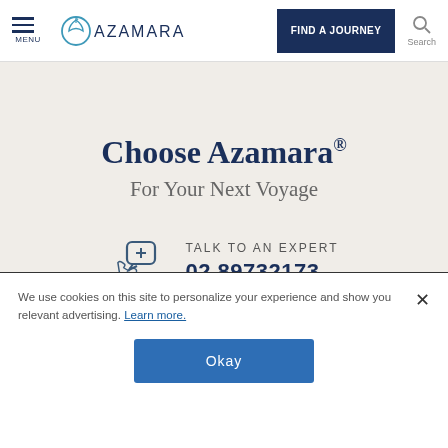MENU | AZAMARA | FIND A JOURNEY | Search
Choose Azamara®
For Your Next Voyage
TALK TO AN EXPERT
02 89732173
We use cookies on this site to personalize your experience and show you relevant advertising. Learn more.
Okay